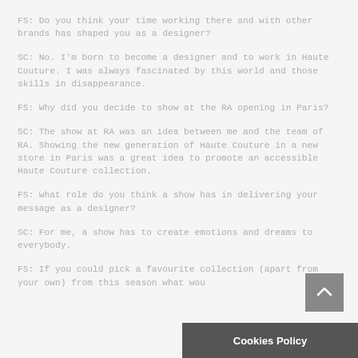FS: Do you think your time working there and with other brands has shaped you as a designer?
SC: No. I'm born to become a designer and to work in Haute Couture. I was always fascinated by this world and those skills in disappearance.
FS: Why did you decide to show at the RA opening in Paris?
SC: The show at RA was an idea between me and the team of RA. Showing the new generation of Haute Couture in a new store in Paris was a great idea to promote an accessible Haute Couture collection.
FS: what role do you think a show has in delivering your message as a designer?
SC: For me, a show has to create emotions and dreams to everybody.
FS: If you could pick a favourite collection (apart from your own) from this season what wou